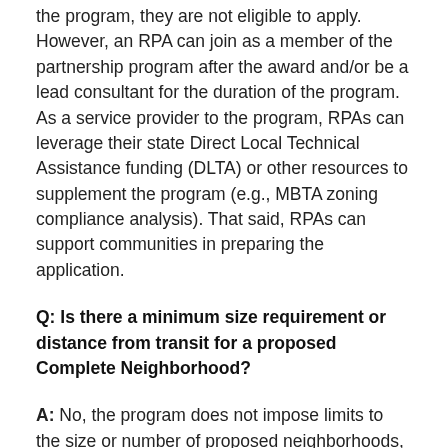the program, they are not eligible to apply. However, an RPA can join as a member of the partnership program after the award and/or be a lead consultant for the duration of the program. As a service provider to the program, RPAs can leverage their state Direct Local Technical Assistance funding (DLTA) or other resources to supplement the program (e.g., MBTA zoning compliance analysis). That said, RPAs can support communities in preparing the application.
Q: Is there a minimum size requirement or distance from transit for a proposed Complete Neighborhood?
A: No, the program does not impose limits to the size or number of proposed neighborhoods, its specific distances from transit, or the number of communities included in a regional application. However, we do recommend applicants consider areas that have been identified in previous planning efforts as priority